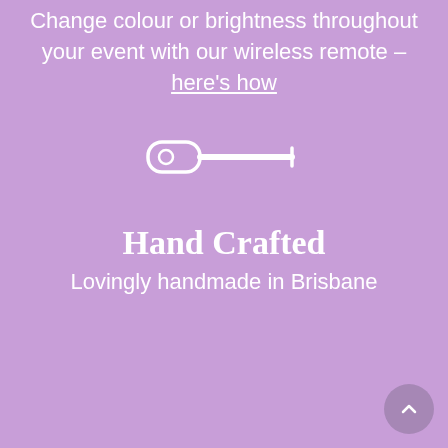Change colour or brightness throughout your event with our wireless remote – here's how
[Figure (illustration): White outline icon of a wireless remote control]
Hand Crafted
Lovingly handmade in Brisbane